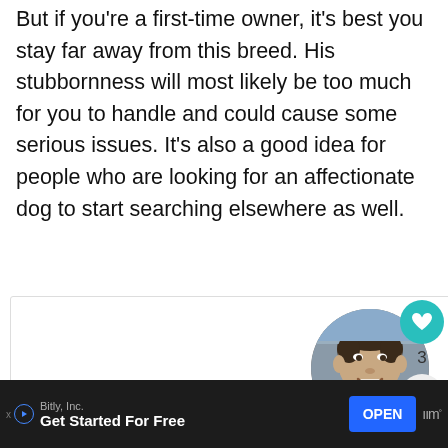But if you're a first-time owner, it's best you stay far away from this breed. His stubbornness will most likely be too much for you to handle and could cause some serious issues. It's also a good idea for people who are looking for an affectionate dog to start searching elsewhere as well.
[Figure (photo): Circular profile photo of a young man named Calvin L., smiling, shown from shoulders up. Part of an author card on a white background.]
Calvin L.
[Figure (infographic): UI elements: teal heart/like button showing count of 3, share button, and a 'WHAT'S NEXT' banner featuring Dan J., Author at Dog...]
Bitly, Inc.
Get Started For Free